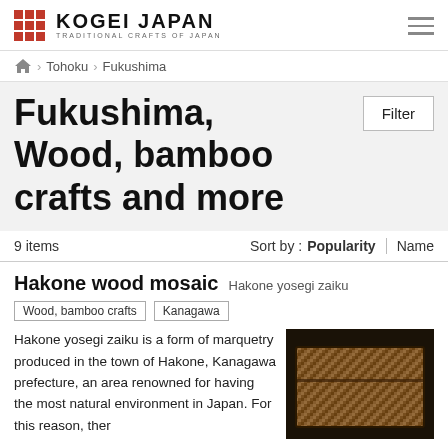KOGEI JAPAN — TRADITIONAL CRAFTS OF JAPAN
Tohoku > Fukushima
Fukushima, Wood, bamboo crafts and more
9 items   Sort by : Popularity | Name
Hakone wood mosaic  Hakone yosegi zaiku
Wood, bamboo crafts   Kanagawa
Hakone yosegi zaiku is a form of marquetry produced in the town of Hakone, Kanagawa prefecture, an area renowned for having the most natural environment in Japan. For this reason, ther
[Figure (photo): Photo of a Hakone wood mosaic box with intricate geometric parquet pattern in warm brown tones]